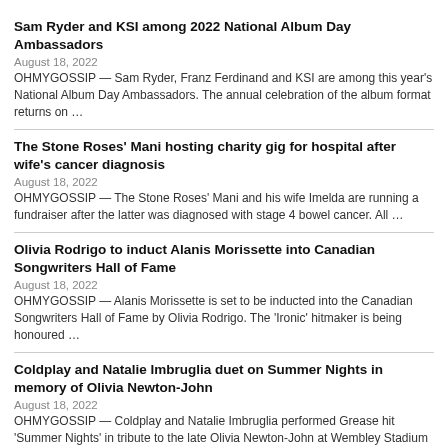Sam Ryder and KSI among 2022 National Album Day Ambassadors
August 18, 2022
OHMYGOSSIP — Sam Ryder, Franz Ferdinand and KSI are among this year's National Album Day Ambassadors. The annual celebration of the album format returns on …
The Stone Roses' Mani hosting charity gig for hospital after wife's cancer diagnosis
August 18, 2022
OHMYGOSSIP — The Stone Roses' Mani and his wife Imelda are running a fundraiser after the latter was diagnosed with stage 4 bowel cancer. All …
Olivia Rodrigo to induct Alanis Morissette into Canadian Songwriters Hall of Fame
August 18, 2022
OHMYGOSSIP — Alanis Morissette is set to be inducted into the Canadian Songwriters Hall of Fame by Olivia Rodrigo. The 'Ironic' hitmaker is being honoured …
Coldplay and Natalie Imbruglia duet on Summer Nights in memory of Olivia Newton-John
August 18, 2022
OHMYGOSSIP — Coldplay and Natalie Imbruglia performed Grease hit 'Summer Nights' in tribute to the late Olivia Newton-John at Wembley Stadium on Tuesday night (16.08.22). …